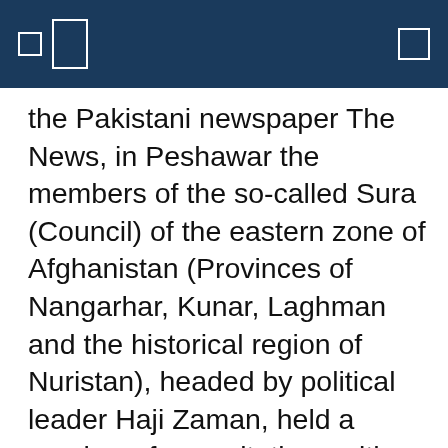the Pakistani newspaper The News, in Peshawar the members of the so-called Sura (Council) of the eastern zone of Afghanistan (Provinces of Nangarhar, Kunar, Laghman and the historical region of Nuristan), headed by political leader Haji Zaman, held a number of consultations with the chiefs and the elders of the Pashtoon tribes with the aim of opening a new front for fighting against the Taliban and establishing their own power in the east of the country. "Very soon we shall form our own government in Jalalabad," said Zaman in this connection. At their yesterday's